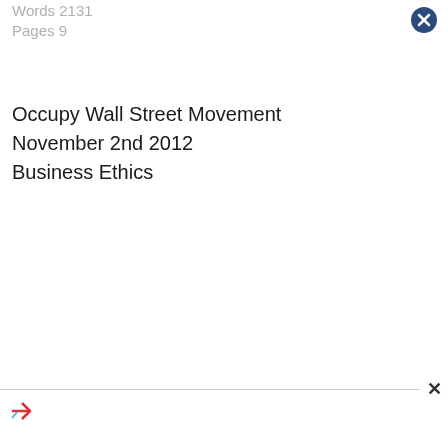Words 2131
Pages 9
Occupy Wall Street Movement
November 2nd 2012
Business Ethics